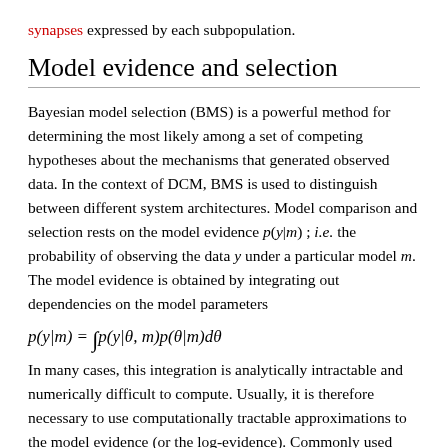synapses expressed by each subpopulation.
Model evidence and selection
Bayesian model selection (BMS) is a powerful method for determining the most likely among a set of competing hypotheses about the mechanisms that generated observed data. In the context of DCM, BMS is used to distinguish between different system architectures. Model comparison and selection rests on the model evidence p(y|m) ; i.e. the probability of observing the data y under a particular model m. The model evidence is obtained by integrating out dependencies on the model parameters
In many cases, this integration is analytically intractable and numerically difficult to compute. Usually, it is therefore necessary to use computationally tractable approximations to the model evidence (or the log-evidence). Commonly used lower-bound approximations include the Akaike information criterion (AIC), Bayesian information criterion (BIC; Schwarz 1978), and variants such as Akaike's Bayesian information criterion (ABIC; Akaike 1985). All